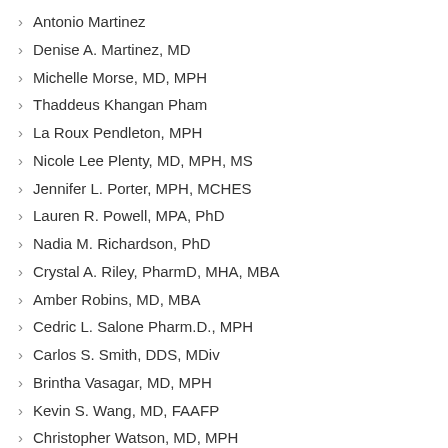Antonio Martinez
Denise A. Martinez, MD
Michelle Morse, MD, MPH
Thaddeus Khangan Pham
La Roux Pendleton, MPH
Nicole Lee Plenty, MD, MPH, MS
Jennifer L. Porter, MPH, MCHES
Lauren R. Powell, MPA, PhD
Nadia M. Richardson, PhD
Crystal A. Riley, PharmD, MHA, MBA
Amber Robins, MD, MBA
Cedric L. Salone Pharm.D., MPH
Carlos S. Smith, DDS, MDiv
Brintha Vasagar, MD, MPH
Kevin S. Wang, MD, FAAFP
Christopher Watson, MD, MPH
B. Cameron Webb, MD, JD